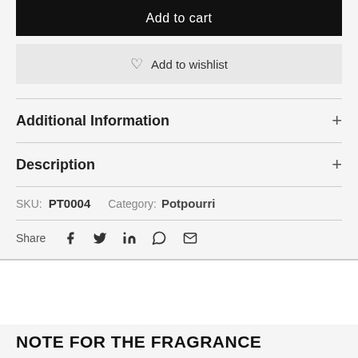Add to cart
♡ Add to wishlist
Additional Information +
Description +
SKU: PT0004   Category: Potpourri
Share [facebook] [twitter] [linkedin] [whatsapp] [email]
NOTE FOR THE FRAGRANCE